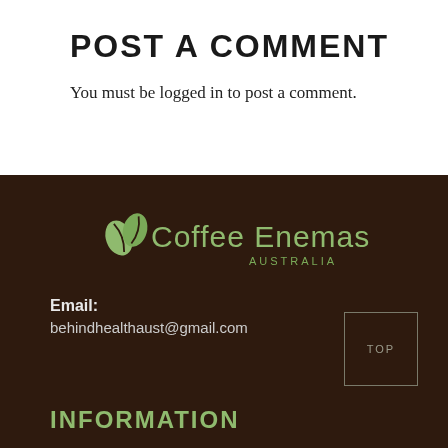POST A COMMENT
You must be logged in to post a comment.
[Figure (logo): Coffee Enemas Australia logo with coffee bean icon and green text]
Email: behindhealthaust@gmail.com
INFORMATION